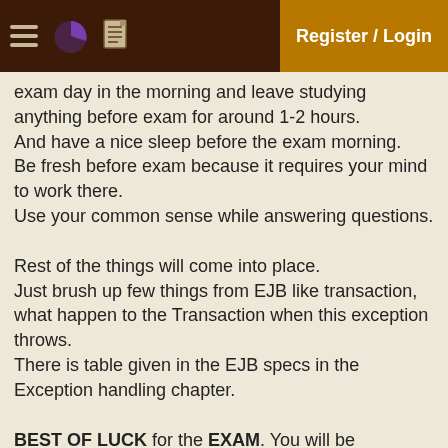Register / Login
exam day in the morning and leave studying anything before exam for around 1-2 hours.
And have a nice sleep before the exam morning.
Be fresh before exam because it requires your mind to work there.
Use your common sense while answering questions.

Rest of the things will come into place.
Just brush up few things from EJB like transaction, what happen to the Transaction when this exception throws.
There is table given in the EJB specs in the Exception handling chapter.

BEST OF LUCK for the EXAM. You will be successful 🙂

Regards,
Manish.
rania ferrag , Ranch Hand